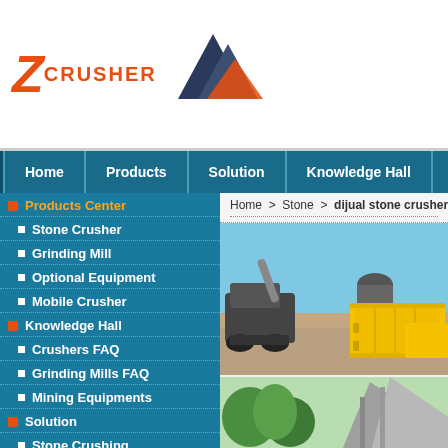[Figure (logo): Z Crusher logo with orange Z text and mountain graphic]
Home | Products | Solution | Knowledge Hall | Se...
Products Center
Stone Crusher
Grinding Mill
Optional Equipment
Mobile Crusher
Knowledge Hall
Crushers FAQ
Grinding Mills FAQ
Mining Equipments
Solution
Stone Crushing
Home > Stone > dijual stone crusher s...
[Figure (photo): Construction site with yellow cargo containers, dark heavy machinery, excavator, and gravel ground under blue sky]
[Figure (photo): Green trees and industrial structure partially visible]